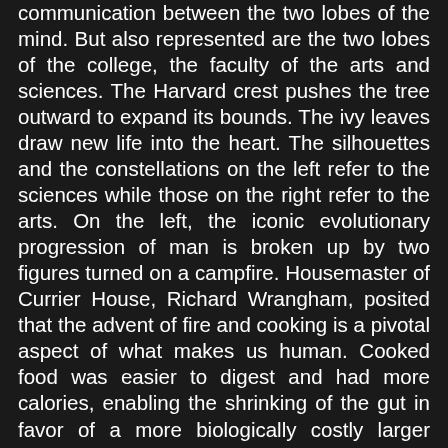communication between the two lobes of the mind. But also represented are the two lobes of the college, the faculty of the arts and sciences. The Harvard crest pushes the tree outward to expand its bounds. The ivy leaves draw new life into the heart. The silhouettes and the constellations on the left refer to the sciences while those on the right refer to the arts. On the left, the iconic evolutionary progression of man is broken up by two figures turned on a campfire. Housemaster of Currier House, Richard Wrangham, posited that the advent of fire and cooking is a pivotal aspect of what makes us human. Cooked food was easier to digest and had more calories, enabling the shrinking of the gut in favor of a more biologically costly larger brain. And perhaps with the cooking and the waiting, fire too contributed to the development of the social component of what defines us as a cooperative species–and Currier as a community. To the right of the cooking figures is juxtaposed a spiritual evolution with the figure of Adam symbolically picking the forbidden fruit off the tree of knowledge. And that fruit, in turn also waits to fall upon the seated figure of Newton who will come to understand the gravity of knowledge inherent in the